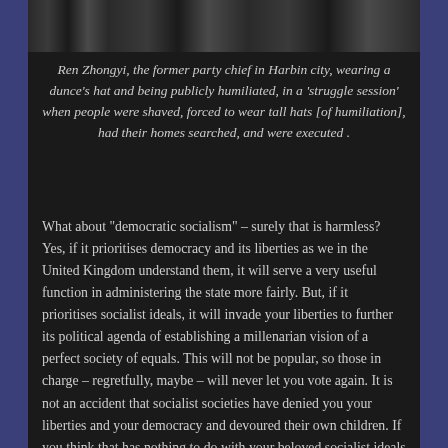[Figure (photo): Black and white historical photograph showing people in a struggle session scene]
Ren Zhongyi, the former party chief in Harbin city, wearing a dunce's hat and being publicly humiliated, in a 'struggle session' when people were shaved, forced to wear tall hats [of humiliation], had their homes searched, and were executed .
What about “democratic socialism” – surely that is harmless? Yes, if it prioritises democracy and its liberties as we in the United Kingdom understand them, it will serve a very useful function in administering the state more fairly. But, if it prioritises socialist ideals, it will invade your liberties to further its political agenda of establishing a millenarian vision of a perfect society of equals. This will not be popular, so those in charge – regretfully, maybe – will never let you vote again. It is not an accident that socialist societies have denied you your liberties and your democracy and devoured their own children. If you think that has nothing to do with your beloved socialist ideals you are fooling yourself. It is the inevitable logic of